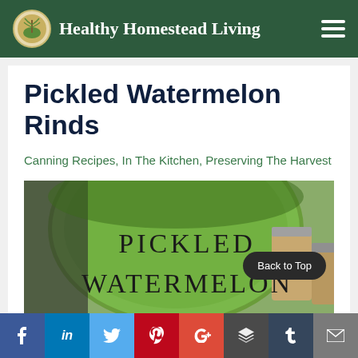Healthy Homestead Living
Pickled Watermelon Rinds
Canning Recipes, In The Kitchen, Preserving The Harvest
[Figure (photo): Photo of a whole watermelon with mason jars, overlaid with text reading PICKLED WATERMELON in large serif font]
Social share bar: Facebook, LinkedIn, Twitter, Pinterest, Google+, Buffer, Tumblr, Email